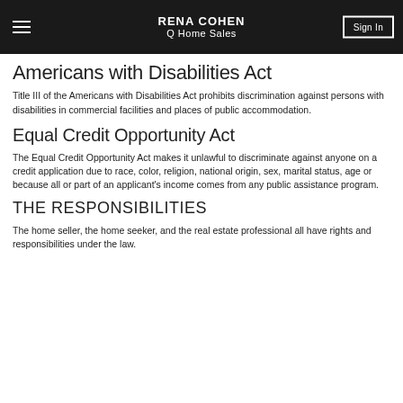RENA COHEN Q Home Sales
Americans with Disabilities Act
Title III of the Americans with Disabilities Act prohibits discrimination against persons with disabilities in commercial facilities and places of public accommodation.
Equal Credit Opportunity Act
The Equal Credit Opportunity Act makes it unlawful to discriminate against anyone on a credit application due to race, color, religion, national origin, sex, marital status, age or because all or part of an applicant's income comes from any public assistance program.
THE RESPONSIBILITIES
The home seller, the home seeker, and the real estate professional all have rights and responsibilities under the law.